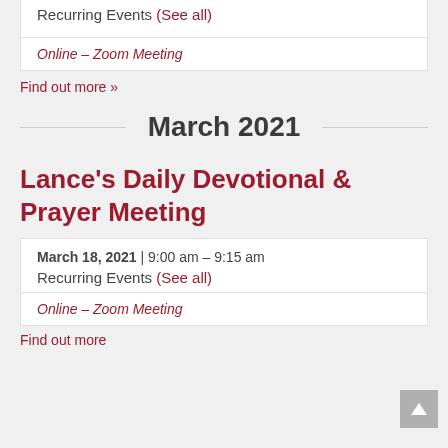Recurring Events (See all)
Online – Zoom Meeting
Find out more »
March 2021
Lance's Daily Devotional & Prayer Meeting
March 18, 2021 | 9:00 am – 9:15 am
Recurring Events (See all)
Online – Zoom Meeting
Find out more